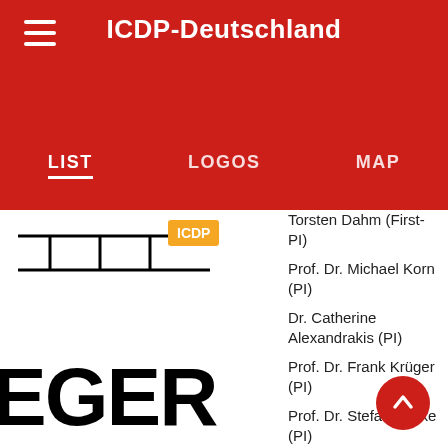ICDP-Deutschland
LIST | LOGOS | MAP
[Figure (logo): Partial logo showing lines and text 'EGER' in bold black lettering with ICDP badge]
Torsten Dahm (First-PI)
Prof. Dr. Michael Korn (PI)
Dr. Catherine Alexandrakis (PI)
Prof. Dr. Frank Krüger (PI)
Prof. Dr. Stefan Buske (PI)
Dr. Karin Bräuer (PI)